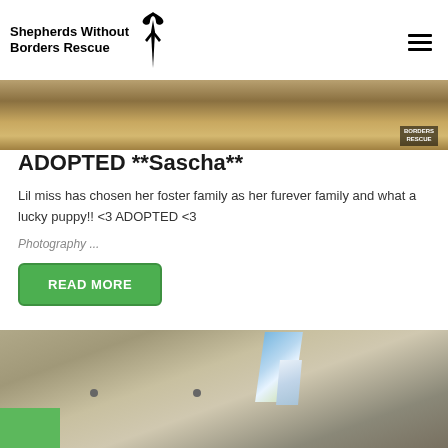Shepherds Without Borders Rescue
[Figure (photo): Top banner photo showing dry grassy field with Borders Rescue watermark badge in lower right corner]
ADOPTED **Sascha**
Lil miss has chosen her foster family as her furever family and what a lucky puppy!! <3 ADOPTED <3
Photography ...
READ MORE
[Figure (photo): Interior photo showing ceiling with skylight window letting in blue sky light, with a green element visible at bottom left corner]